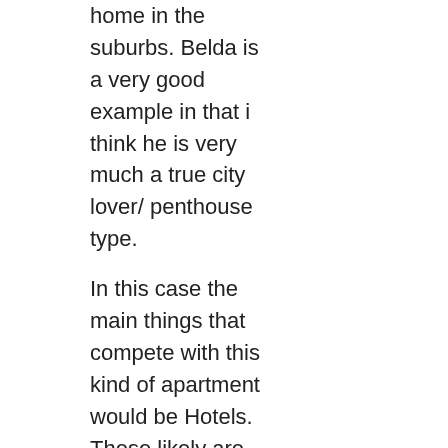home in the suburbs. Belda is a very good example in that i think he is very much a true city lover/ penthouse type.
In this case the main things that compete with this kind of apartment would be Hotels. These likely are right now comming here and getting hotel rooms downtown. A lot of NY's most fancy apartment stuff sort of competes with hotel rooms for the super rich. One thing that I don't think that Pittsburgh realizes is that for relatively small town it is stacked with institutions that are pretty famous. For that reason it is a